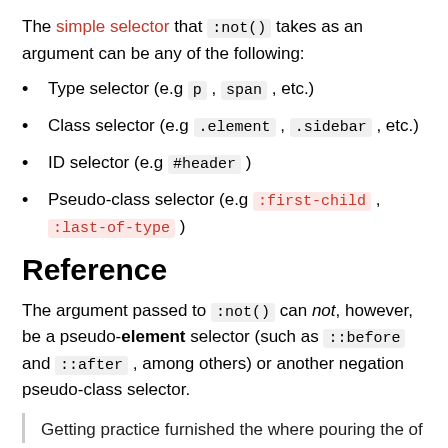The simple selector that :not() takes as an argument can be any of the following:
Type selector (e.g p , span , etc.)
Class selector (e.g .element , .sidebar , etc.)
ID selector (e.g #header )
Pseudo-class selector (e.g :first-child , :last-of-type )
Reference
The argument passed to :not() can not, however, be a pseudo-element selector (such as ::before and ::after , among others) or another negation pseudo-class selector.
Getting practice furnished the where pouring the of